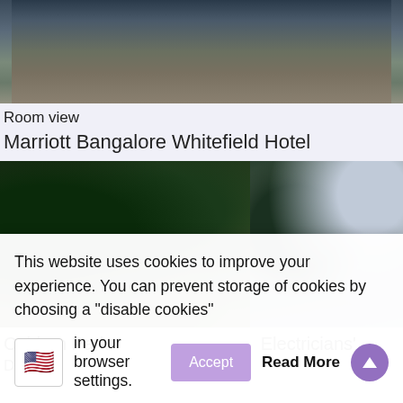[Figure (photo): Aerial or elevated view of a cityscape with buildings and landscape, taken from a hotel room window. Dark mountain/hill silhouette visible in background.]
Room view
Marriott Bangalore Whitefield Hotel
[Figure (photo): Cubbon Park in Bangalore — lush green trees lining a path, dappled light, serene park setting.]
[Figure (photo): Electricians' — street view with road, trees, utility poles and power lines, overcast sky.]
Cubbon Park
Electricians'
This website uses cookies to improve your experience. You can prevent storage of cookies by choosing a "disable cookies" option in your browser settings.
Accept
Read More